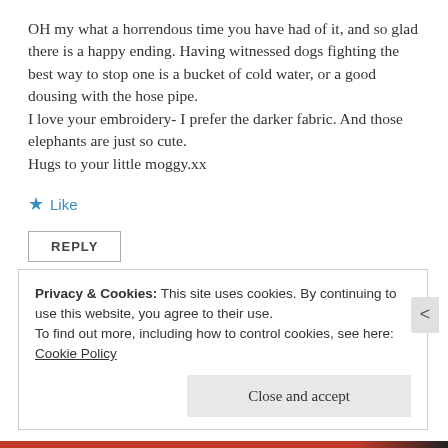OH my what a horrendous time you have had of it, and so glad there is a happy ending. Having witnessed dogs fighting the best way to stop one is a bucket of cold water, or a good dousing with the hose pipe.
I love your embroidery- I prefer the darker fabric. And those elephants are just so cute.
Hugs to your little moggy.xx
★ Like
REPLY
Privacy & Cookies: This site uses cookies. By continuing to use this website, you agree to their use.
To find out more, including how to control cookies, see here: Cookie Policy
Close and accept